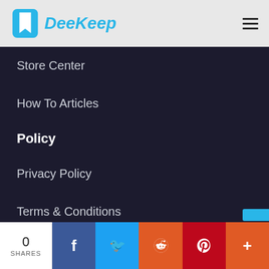[Figure (logo): DeeKeep logo with blue bookmark icon and italic blue text 'DeeKeep' on light gray header bar with hamburger menu icon]
Store Center
How To Articles
Policy
Privacy Policy
Terms & Conditions
Refund Policy
Hot Products
0 SHARES | Facebook | Twitter | Reddit | Pinterest | More